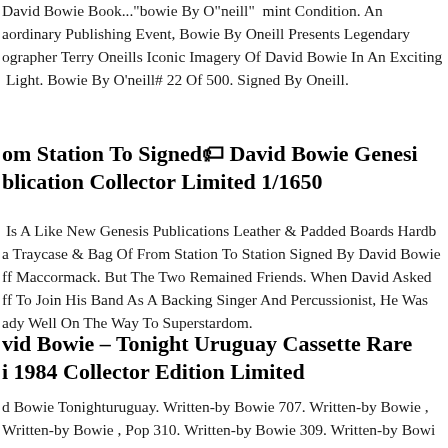David Bowie Book..."bowie By O"neill" mint Condition. An aordinary Publishing Event, Bowie By Oneill Presents Legendary ographer Terry Oneills Iconic Imagery Of David Bowie In An Exciting Light. Bowie By O'neill# 22 Of 500. Signed By Oneill.
om Station To Signed🏷 David Bowie Genesis blication Collector Limited 1/1650
Is A Like New Genesis Publications Leather & Padded Boards Hardb a Traycase & Bag Of From Station To Station Signed By David Bowie ff Maccormack. But The Two Remained Friends. When David Asked ff To Join His Band As A Backing Singer And Percussionist, He Was ady Well On The Way To Superstardom.
vid Bowie – Tonight Uruguay Cassette Rare i 1984 Collector Edition Limited
d Bowie Tonighturuguay. Written-by Bowie 707. Written-by Bowie , Written-by Bowie , Pop 310. Written-by Bowie 309. Written-by Bowi iM M M...